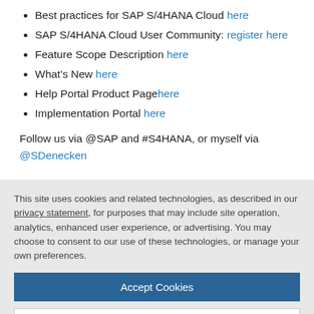Best practices for SAP S/4HANA Cloud here
SAP S/4HANA Cloud User Community: register here
Feature Scope Description here
What's New here
Help Portal Product Page here
Implementation Portal here
Follow us via @SAP and #S4HANA, or myself via @SDenecken
This site uses cookies and related technologies, as described in our privacy statement, for purposes that may include site operation, analytics, enhanced user experience, or advertising. You may choose to consent to our use of these technologies, or manage your own preferences.
Accept Cookies
More Information
Privacy Policy | Powered by: TrustArc